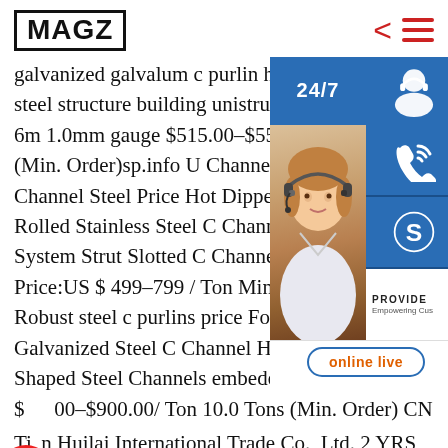MAGZ
galvanized galvalum c purlin h steel c purline steel structure building unistrut c channel 6m 1.0mm gauge $515.00-$558.00 / T (Min. Order)sp.info U Channel Steel | Channel Steel Price Hot Dipped Galva Rolled Stainless Steel C Channel 304 System Strut Slotted C Channel Stee Price:US $ 499-799 / Ton Min. Order: Robust steel c purlins price For Durab Galvanized Steel C Channel Hot Rolled U Shaped Steel Channels embedded channel steel $800-$900.00/ Ton 10.0 Tons (Min. Order) CN Tianjin Huilai International Trade Co., Ltd. 2 YRS Contact Supplier Gold Bonding Galvanized Roof
[Figure (screenshot): Customer service sidebar with 24/7 chat icon, headset operator photo, phone icon button, Skype icon button, PROVIDE branding, and online live button]